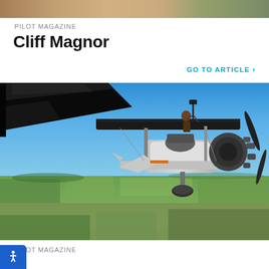[Figure (photo): Partial view of a colorful top photo, cropped at top of page]
PILOT MAGAZINE
Cliff Magnor
GO TO ARTICLE >
[Figure (photo): Aerial photograph of a biplane in flight over farmland. A person is visible on top of the upper wing. The aircraft is a classic biplane with a radial engine and fixed landing gear, photographed from close range from another aircraft. Green fields and rural landscape visible below under a blue sky.]
PILOT MAGAZINE